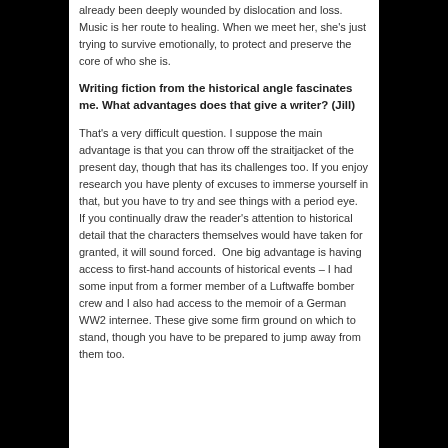already been deeply wounded by dislocation and loss. Music is her route to healing. When we meet her, she's just trying to survive emotionally, to protect and preserve the core of who she is.
Writing fiction from the historical angle fascinates me. What advantages does that give a writer? (Jill)
That's a very difficult question. I suppose the main advantage is that you can throw off the straitjacket of the present day, though that has its challenges too. If you enjoy research you have plenty of excuses to immerse yourself in that, but you have to try and see things with a period eye. If you continually draw the reader's attention to historical detail that the characters themselves would have taken for granted, it will sound forced. One big advantage is having access to first-hand accounts of historical events – I had some input from a former member of a Luftwaffe bomber crew and I also had access to the memoir of a German WW2 internee. These give some firm ground on which to stand, though you have to be prepared to jump away from them too.